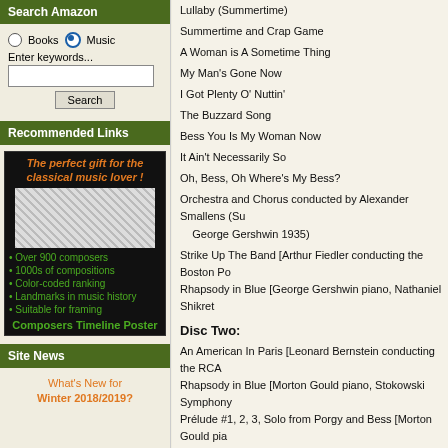Search Amazon
Books  Music
Enter keywords...
Recommended Links
[Figure (advertisement): Composers Timeline Poster ad with text: The perfect gift for the classical music lover! Over 900 composers, 1000s of compositions, Color-coded ranking, Landmarks in music history, Suitable for framing. Composers Timeline Poster.]
Site News
What's New for Winter 2018/2019?
Lullaby (Summertime)
Summertime and Crap Game
A Woman is A Sometime Thing
My Man's Gone Now
I Got Plenty O' Nuttin'
The Buzzard Song
Bess You Is My Woman Now
It Ain't Necessarily So
Oh, Bess, Oh Where's My Bess?
Orchestra and Chorus conducted by Alexander Smallens (Su... George Gershwin 1935)
Strike Up The Band [Arthur Fiedler conducting the Boston Po...
Rhapsody in Blue [George Gershwin piano, Nathaniel Shikret...
Disc Two:
An American In Paris [Leonard Bernstein conducting the RCA...
Rhapsody in Blue [Morton Gould piano, Stokowski Symphony...
Prélude #1, 2, 3, Solo from Porgy and Bess [Morton Gould pia...
Suite from Porgy and Bess (Arranged by Morton Gould with h...
RCA 09026-63276 AAD 64:58 & 73:07
[Figure (other): Three Amazon buy buttons: Buy from amazon.com, Buy from amazon.co.uk, Kaufen bei amazon.de]
These two releases celebrate what would have been t... on September 28, 1898. Considering the music that m... of a late-diagnosed brain tumor, was a tragedy on the... and praise George Gershwin.
The memorial Magic Key Program, in spite of the mela... consists of material originally issued on ten 78-rpm sid... and that's what eight of these sides are – a breeze th... three or four songs at a shot. (One side is Jane Froma...